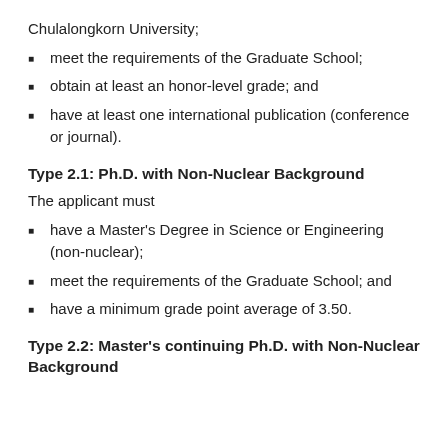Chulalongkorn University;
meet the requirements of the Graduate School;
obtain at least an honor-level grade; and
have at least one international publication (conference or journal).
Type 2.1: Ph.D. with Non-Nuclear Background
The applicant must
have a Master's Degree in Science or Engineering (non-nuclear);
meet the requirements of the Graduate School; and
have a minimum grade point average of 3.50.
Type 2.2: Master's continuing Ph.D. with Non-Nuclear Background